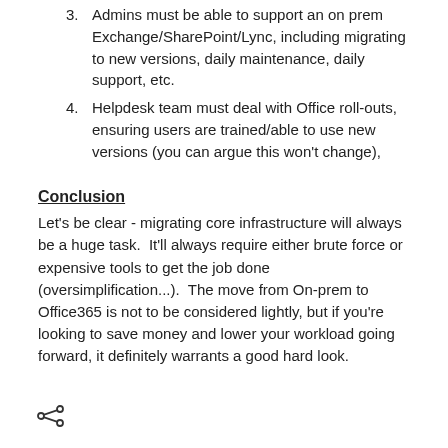Admins must be able to support an on prem Exchange/SharePoint/Lync, including migrating to new versions, daily maintenance, daily support, etc.
Helpdesk team must deal with Office roll-outs, ensuring users are trained/able to use new versions (you can argue this won't change),
Conclusion
Let's be clear - migrating core infrastructure will always be a huge task.  It'll always require either brute force or expensive tools to get the job done (oversimplification...).  The move from On-prem to Office365 is not to be considered lightly, but if you're looking to save money and lower your workload going forward, it definitely warrants a good hard look.
[share icon]